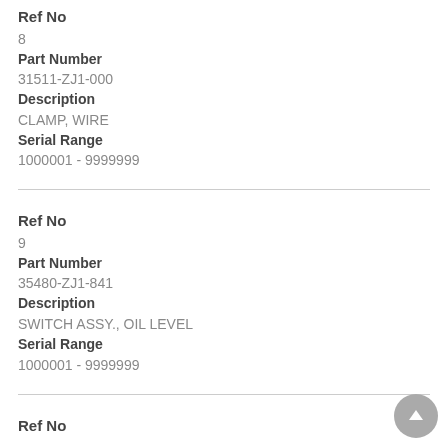Ref No
8
Part Number
31511-ZJ1-000
Description
CLAMP, WIRE
Serial Range
1000001 - 9999999
Ref No
9
Part Number
35480-ZJ1-841
Description
SWITCH ASSY., OIL LEVEL
Serial Range
1000001 - 9999999
Ref No